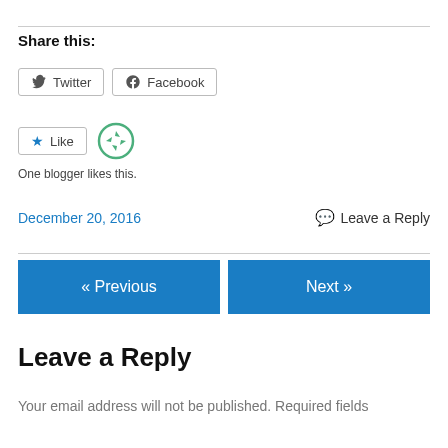Share this:
[Figure (other): Twitter and Facebook share buttons]
[Figure (other): Like button and recycling/refresh icon, with 'One blogger likes this.' text below]
One blogger likes this.
December 20, 2016    Leave a Reply
« Previous    Next »
Leave a Reply
Your email address will not be published. Required fields